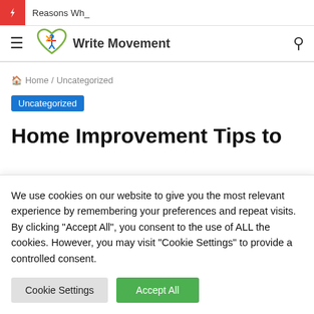Reasons Wh_
[Figure (logo): Write Movement website logo with heart and figure icon]
Home / Uncategorized
Uncategorized
Home Improvement Tips to
We use cookies on our website to give you the most relevant experience by remembering your preferences and repeat visits. By clicking "Accept All", you consent to the use of ALL the cookies. However, you may visit "Cookie Settings" to provide a controlled consent.